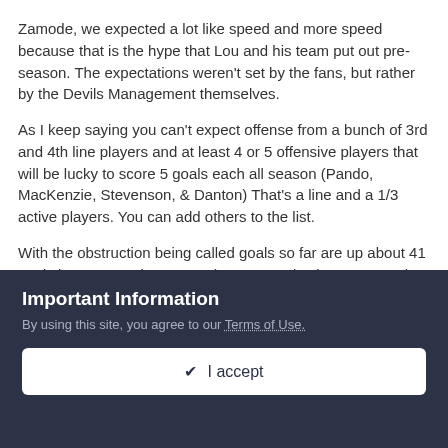Zamode, we expected a lot like speed and more speed because that is the hype that Lou and his team put out pre-season. The expectations weren't set by the fans, but rather by the Devils Management themselves.
As I keep saying you can't expect offense from a bunch of 3rd and 4th line players and at least 4 or 5 offensive players that will be lucky to score 5 goals each all season (Pando, MacKenzie, Stevenson, & Danton) That's a line and a 1/3 active players. You can add others to the list.
With the obstruction being called goals so far are up about 41 goals league over last year. The average is about 4 -6 goals a game. Not the devils.
TO-DATE MARTY ISN'T IN THE TOP 10 goalie for GAA or % Saves,
Important Information
By using this site, you agree to our Terms of Use.
✔ I accept